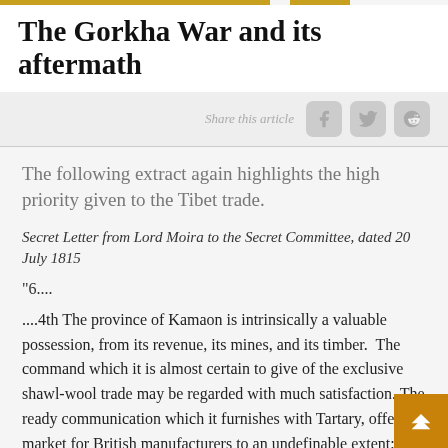The Gorkha War and its aftermath
Share this article
The following extract again highlights the high priority given to the Tibet trade.
Secret Letter from Lord Moira to the Secret Committee, dated 20 July 1815
“6....
....4th The province of Kamaon is intrinsically a valuable possession, from its revenue, its mines, and its timber.  The command which it is almost certain to give of the exclusive shawl-wool trade may be regarded with much satisfaction. The ready communication which it furnishes with Tartary, offers a market for British manufacturers to an undefinable extent; and the facilities which it enables if commerce to